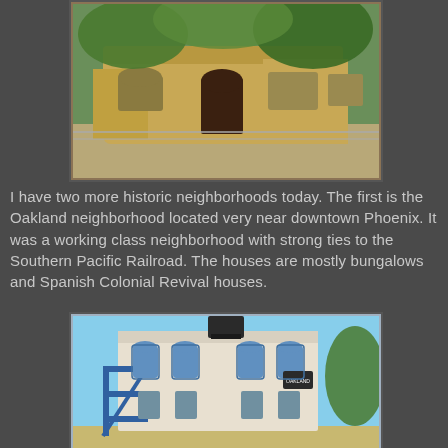[Figure (photo): A single-story tan/yellow Spanish Colonial Revival style house with an arched doorway, barred windows, and green trees behind it. A chain-link fence is in the foreground.]
I have two more historic neighborhoods today.  The first is the Oakland neighborhood located very near downtown Phoenix.  It was a working class neighborhood with strong ties to the Southern Pacific Railroad.  The houses are mostly bungalows and Spanish Colonial Revival houses.
[Figure (photo): A two-story white commercial or hotel building with blue metal exterior stairs/fire escape, arched windows with blue trim, and a water tower on top. A sign reading 'OAKLAND' is visible on the facade.]